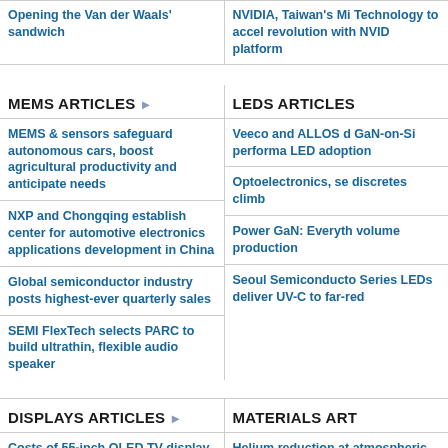Opening the Van der Waals' sandwich
NVIDIA, Taiwan's Mi... Technology to accel... revolution with NVID... platform
MEMS ARTICLES
MEMS & sensors safeguard autonomous cars, boost agricultural productivity and anticipate needs
NXP and Chongqing establish center for automotive electronics applications development in China
Global semiconductor industry posts highest-ever quarterly sales
SEMI FlexTech selects PARC to build ultrathin, flexible audio speaker
LEDS ARTICLES
Veeco and ALLOS d... GaN-on-Si performa... LED adoption
Optoelectronics, se... discretes climb
Power GaN: Everyth... volume production
Seoul Semiconducto... Series LEDs deliver ... UV-C to far-red
DISPLAYS ARTICLES
Costs of 55-inch OLED TV display production catch up to LCD TV panels
IPS display adoption in notebook PCs continues to increase
MATERIALS ARTICLES
Helium reduction at... atmospheric CVD
AKHAN Semicondu... manufacturing proce... based chip productio...